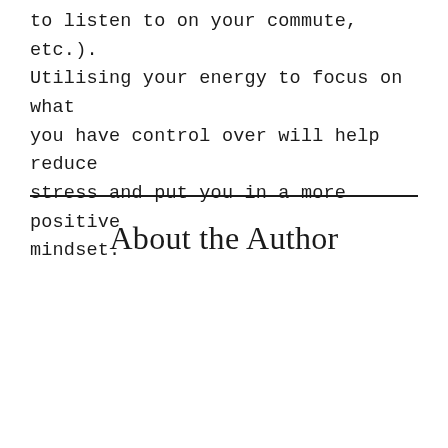to listen to on your commute, etc.). Utilising your energy to focus on what you have control over will help reduce stress and put you in a more positive mindset.
About the Author